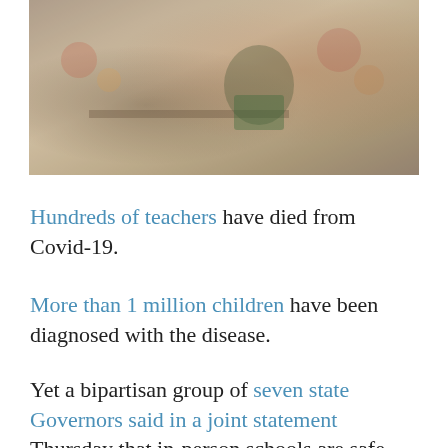[Figure (photo): Students in a classroom setting; a child wearing a Minecraft shirt is visible writing at a desk, with colorful classroom decorations in the background.]
Hundreds of teachers have died from Covid-19.
More than 1 million children have been diagnosed with the disease.
Yet a bipartisan group of seven state Governors said in a joint statement Thursday that in-person schools are safe even when community